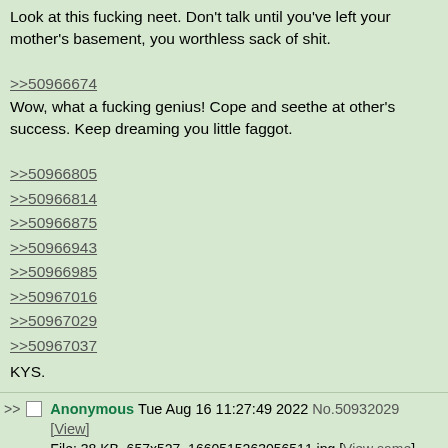Look at this fucking neet. Don't talk until you've left your mother's basement, you worthless sack of shit.
>>50966674
Wow, what a fucking genius! Cope and seethe at other's success. Keep dreaming you little faggot.
>>50966805
>>50966814
>>50966875
>>50966943
>>50966985
>>50967016
>>50967029
>>50967037
KYS.
Anonymous Tue Aug 16 11:27:49 2022 No.50932029
[View]
File: 38 KB, 657x527, 1660515263056511.jpg [View same]
[iqdb] [saucenao] [google]
[Figure (illustration): Pepe the Frog illustration, green frog with sad eyes]
>>50932010